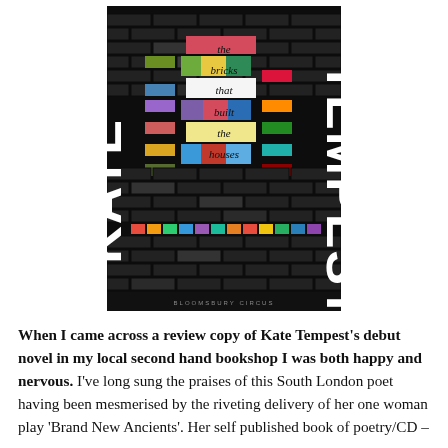[Figure (illustration): Book cover of 'The Bricks That Built the Houses' by Kate Tempest, published by Bloomsbury Circus. Black background with a brick wall pattern, colorful rectangular blocks in the center spelling out the title words, and large white letters KATE TEMPEST running vertically on the sides.]
When I came across a review copy of Kate Tempest's debut novel in my local second hand bookshop I was both happy and nervous. I've long sung the praises of this South London poet having been mesmerised by the riveting delivery of her one woman play 'Brand New Ancients'. Her self published book of poetry/CD –